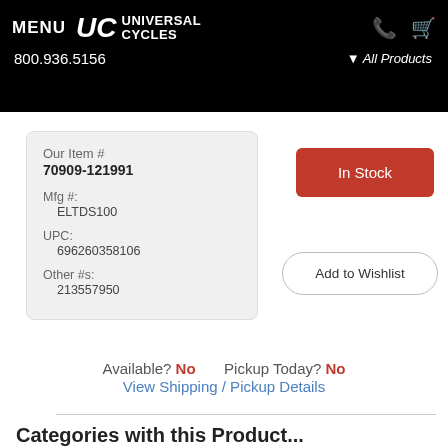MENU  UC UNIVERSAL CYCLES  800.936.5156  All Products
Our Item #
70909-121991
Mfg #:
  ELTDS100
UPC:
  696260358106
Other #s:
  213557950
In Stock
Add to Wishlist
Available? No   Pickup Today? No
View Shipping / Pickup Details
Categories with this Product...
Body Armor
Body Armor > Above Waist - Arm/Elbow
Body Armor > Lizard Skin Body Armor
Body Armor > Youth Body Armor